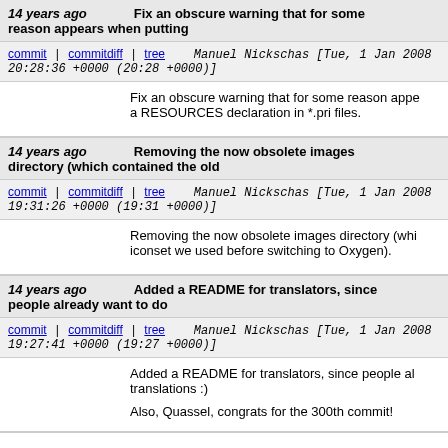14 years ago   Fix an obscure warning that for some reason appears when putting
commit | commitdiff | tree   Manuel Nickschas [Tue, 1 Jan 2008 20:28:36 +0000 (20:28 +0000)]
Fix an obscure warning that for some reason appe a RESOURCES declaration in *.pri files.
14 years ago   Removing the now obsolete images directory (which contained the old
commit | commitdiff | tree   Manuel Nickschas [Tue, 1 Jan 2008 19:31:26 +0000 (19:31 +0000)]
Removing the now obsolete images directory (whi iconset we used before switching to Oxygen).
14 years ago   Added a README for translators, since people already want to do
commit | commitdiff | tree   Manuel Nickschas [Tue, 1 Jan 2008 19:27:41 +0000 (19:27 +0000)]
Added a README for translators, since people al translations :)

Also, Quassel, congrats for the 300th commit!